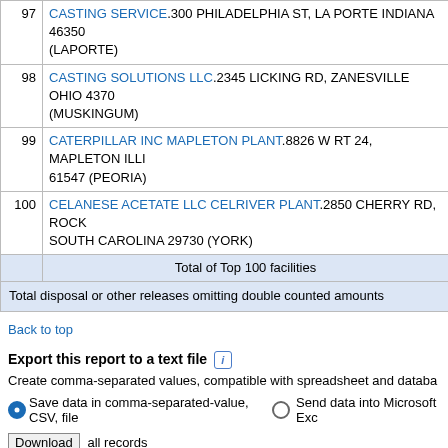| # | Facility |
| --- | --- |
| 97 | CASTING SERVICE.300 PHILADELPHIA ST, LA PORTE INDIANA 46350 (LAPORTE) |
| 98 | CASTING SOLUTIONS LLC.2345 LICKING RD, ZANESVILLE OHIO 4370 (MUSKINGUM) |
| 99 | CATERPILLAR INC MAPLETON PLANT.8826 W RT 24, MAPLETON ILLINOIS 61547 (PEORIA) |
| 100 | CELANESE ACETATE LLC CELRIVER PLANT.2850 CHERRY RD, ROCK SOUTH CAROLINA 29730 (YORK) |
|  | Total of Top 100 facilities |
|  | Total disposal or other releases omitting double counted amounts |
Back to top
Export this report to a text file
Create comma-separated values, compatible with spreadsheet and database
Save data in comma-separated-value, CSV, file  Send data into Microsoft Excel
Download all records
View other report type:
Transfers Off-site for Further Waste Management
Quantities of TRI Chemicals in Waste (waste management)
View report in other formats:
PDF (Acrobat Reader); or